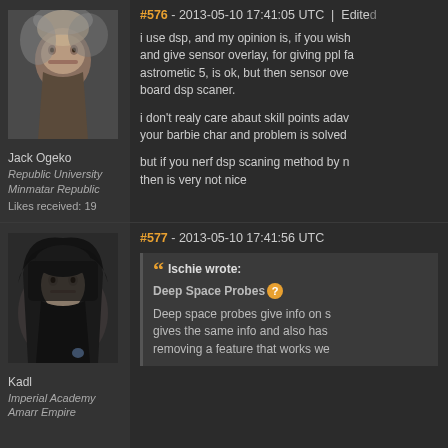[Figure (photo): Avatar of Jack Ogeko - female character with light hair and smoky background]
Jack Ogeko
Republic University
Minmatar Republic
Likes received: 19
#576 - 2013-05-10 17:41:05 UTC | Edited
i use dsp, and my opinion is, if you wish and give sensor overlay, for giving ppl fa astrometic 5, is ok, but then sensor ove board dsp scaner.

i don't realy care abaut skill points adav your barbie char and problem is solved

but if you nerf dsp scaning method by n then is very not nice
[Figure (photo): Avatar of Kadl - dark hooded figure, older male character]
Kadl
Imperial Academy
Amarr Empire
#577 - 2013-05-10 17:41:56 UTC
Ischie wrote:
Deep Space Probes
Deep space probes give info on s gives the same info and also has removing a feature that works we